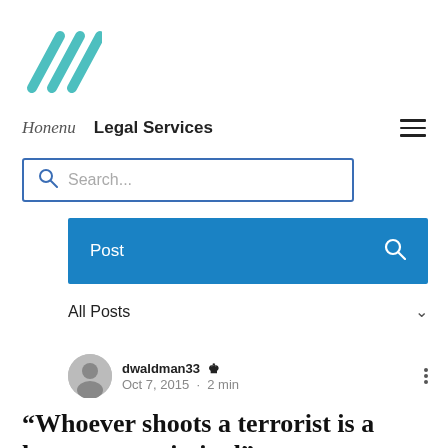[Figure (logo): Teal/green diagonal checkmark strikethrough logo mark]
Honenu   Legal Services
Search...
Post
All Posts
dwaldman33 [admin icon]  Oct 7, 2015 · 2 min
“Whoever shoots a terrorist is a hero, not a criminal”